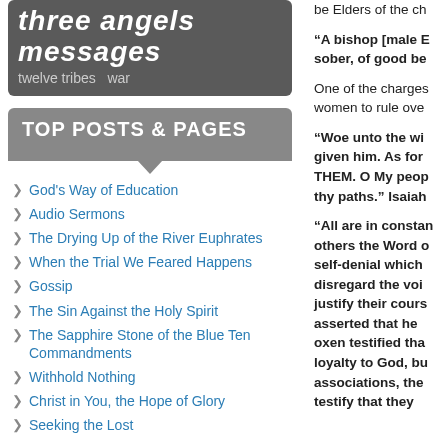three angels messages
twelve tribes  war
TOP POSTS & PAGES
God's Way of Education
Audio Sermons
The Drying Up of the River Euphrates
When the Trial We Feared Happens
Gossip
The Sin Against the Holy Spirit
The Sapphire Stone of the Blue Ten Commandments
Withhold Nothing
Christ in You, the Hope of Glory
Seeking the Lost
be Elders of the ch...
“A bishop [male E... sober, of good be...
One of the charges... women to rule ove...
“Woe unto the wi... given him. As for... THEM. O My peop... thy paths.” Isaiah...
“All are in constan... others the Word o... self-denial which... disregard the voi... justify their cours... asserted that he... oxen testified tha... loyalty to God, bu... associations, the... testify that they...